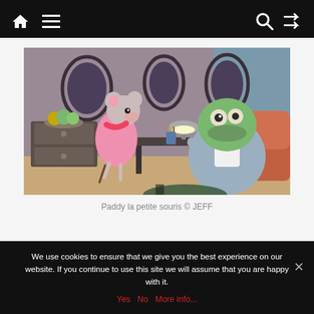Navigation bar with home, menu, search, and shuffle icons
[Figure (illustration): Animated illustration showing two cartoon characters: a small pink mouse wearing a pink dress and scarf, and a large green frog-like character in a grey suit sitting at a desk with a lamp, in an office-like room setting. Style resembles French animation.]
Paddy la petite souris © JEFF
We use cookies to ensure that we give you the best experience on our website. If you continue to use this site we will assume that you are happy with it.
Yes   No   More info...